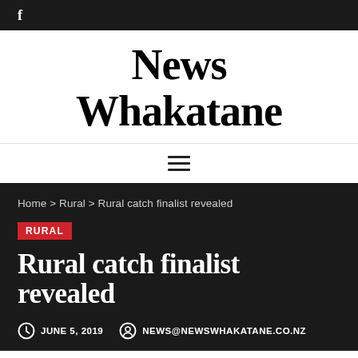f
News Whakatane
≡
Home > Rural > Rural catch finalist revealed
RURAL
Rural catch finalist revealed
JUNE 5, 2019    NEWS@NEWSWHAKATANE.CO.NZ